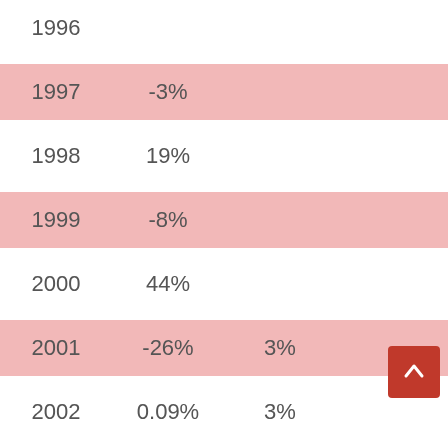| Year | Return | Col3 | Col4 |
| --- | --- | --- | --- |
| 1996 |  |  |  |
| 1997 | -3% |  |  |
| 1998 | 19% |  |  |
| 1999 | -8% |  |  |
| 2000 | 44% |  |  |
| 2001 | -26% | 3% |  |
| 2002 | 0.09% | 3% |  |
| 2003 | -14% | -3% |  |